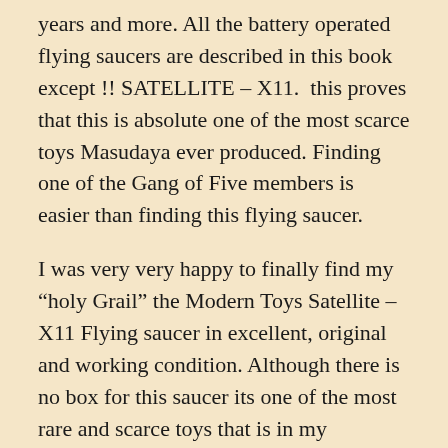years and more. All the battery operated flying saucers are described in this book except !! SATELLITE – X11.  this proves that this is absolute one of the most scarce toys Masudaya ever produced. Finding one of the Gang of Five members is easier than finding this flying saucer.
I was very very happy to finally find my “holy Grail” the Modern Toys Satellite – X11 Flying saucer in excellent, original and working condition. Although there is no box for this saucer its one of the most rare and scarce toys that is in my collection these days. Modern Toys Satellite X-11 is produced ( I guess because there is no info about this saucer ) in the mid 1960`s The base, the technique, battery